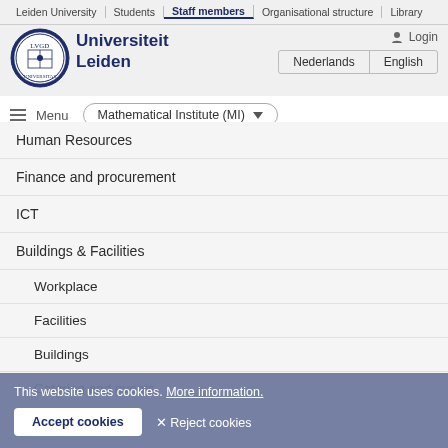Leiden University | Students | Staff members | Organisational structure | Library
[Figure (logo): Leiden University circular seal/crest logo in dark blue]
Universiteit Leiden
Login
Nederlands | English
≡ Menu   Mathematical Institute (MI) ▼
Human Resources
Finance and procurement
ICT
Buildings & Facilities
Workplace
Facilities
Buildings
Catering and events
This website uses cookies. More information.
Accept cookies   ✕ Reject cookies